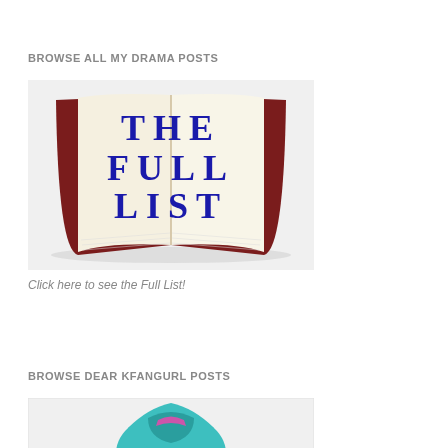BROWSE ALL MY DRAMA POSTS
[Figure (illustration): An open book with 'THE FULL LIST' written in large blue serif letters across the pages, with a dark red book cover visible on the sides.]
Click here to see the Full List!
BROWSE DEAR KFANGURL POSTS
[Figure (photo): Partial view of a person in teal/turquoise clothing, cropped at the top of the image.]